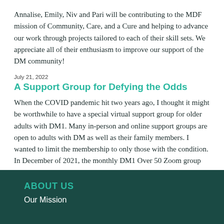Annalise, Emily, Niv and Pari will be contributing to the MDF mission of Community, Care, and a Cure and helping to advance our work through projects tailored to each of their skill sets. We appreciate all of their enthusiasm to improve our support of the DM community!
July 21, 2022
A Support Group for Defying the Odds
When the COVID pandemic hit two years ago, I thought it might be worthwhile to have a special virtual support group for older adults with DM1. Many in-person and online support groups are open to adults with DM as well as their family members. I wanted to limit the membership to only those with the condition. In December of 2021, the monthly DM1 Over 50 Zoom group launched.
Read more news
ABOUT US
Our Mission